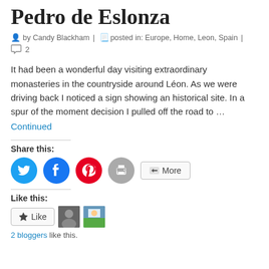Pedro de Eslonza
by Candy Blackham | posted in: Europe, Home, Leon, Spain | 2
It had been a wonderful day visiting extraordinary monasteries in the countryside around Léon. As we were driving back I noticed a sign showing an historical site. In a spur of the moment decision I pulled off the road to … Continued
[Figure (infographic): Social sharing buttons: Twitter (blue circle), Facebook (blue circle), Pinterest (red circle), Print (gray circle), and More button]
[Figure (infographic): Like button with star icon, two blogger avatar thumbnails, and text '2 bloggers like this.']